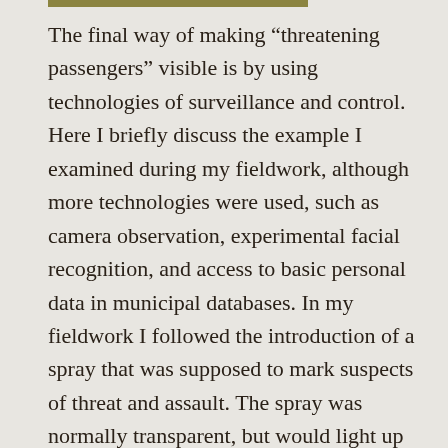The final way of making "threatening passengers" visible is by using technologies of surveillance and control. Here I briefly discuss the example I examined during my fieldwork, although more technologies were used, such as camera observation, experimental facial recognition, and access to basic personal data in municipal databases. In my fieldwork I followed the introduction of a spray that was supposed to mark suspects of threat and assault. The spray was normally transparent, but would light up under UV-light (so the official scenario stated, see the picture below taken